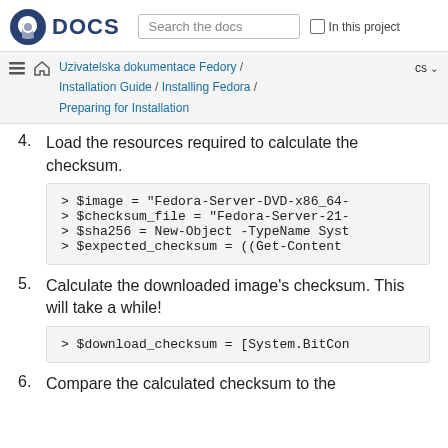DOCS | Search the docs | In this project
Uzivatelska dokumentace Fedory / Installation Guide / Installing Fedora / Preparing for Installation | cs
4. Load the resources required to calculate the checksum.
> $image = "Fedora-Server-DVD-x86_64-
> $checksum_file = "Fedora-Server-21-
> $sha256 = New-Object -TypeName Syst
> $expected_checksum = ((Get-Content
5. Calculate the downloaded image’s checksum. This will take a while!
> $download_checksum = [System.BitCon
6. Compare the calculated checksum to the